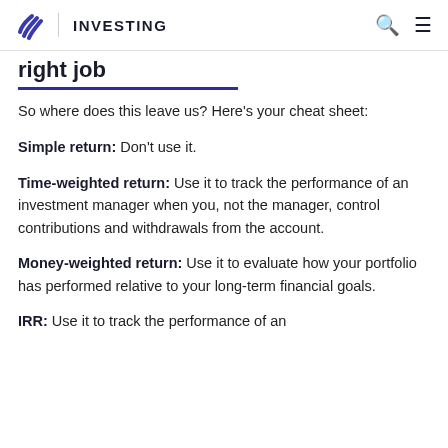INVESTING
right job
So where does this leave us? Here's your cheat sheet:
Simple return: Don't use it.
Time-weighted return: Use it to track the performance of an investment manager when you, not the manager, control contributions and withdrawals from the account.
Money-weighted return: Use it to evaluate how your portfolio has performed relative to your long-term financial goals.
IRR: Use it to track the performance of an